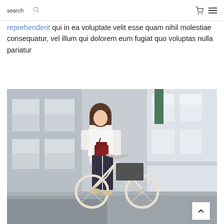search
reprehenderit qui in ea voluptate velit esse quam nihil molestiae consequatur, vel illum qui dolorem eum fugiat quo voluptas nulla pariatur
[Figure (photo): A young woman with bangs wearing a white blouse and striped pants, holding a vintage bicycle with a basket, standing in front of a classical European building. She has a dark red quilted shoulder bag.]